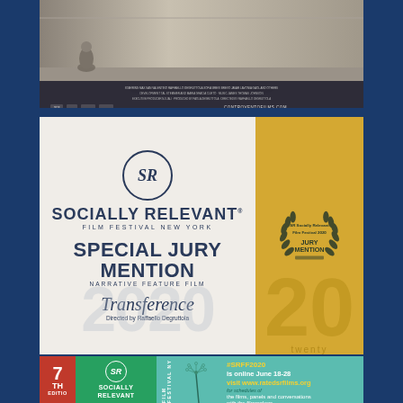[Figure (photo): Film poster for 'Transference' showing a person crouching in a corridor, with film credits text and logos at the bottom. Website: CONTROVENTOFILMS.COM]
[Figure (illustration): SR Socially Relevant Film Festival New York award certificate. Left panel (light background): SR logo circle, 'SOCIALLY RELEVANT FILM FESTIVAL NEW YORK', 'SPECIAL JURY MENTION', 'NARRATIVE FEATURE FILM', 'Transference', 'Directed by Raffaello Degruttola', '2020' watermark. Right panel (gold/yellow background): Laurel wreath badge with 'SR Socially Relevant Film Festival 2020 JURY MENTION', '20 twenty' watermark.]
[Figure (illustration): SR Socially Relevant Film Festival NY promotional banner. Left red section: '7TH EDITION'. Green section: SR circle logo, 'SOCIALLY RELEVANT'. Teal vertical strip: 'FILM FESTIVAL NY'. Right teal section with dandelion image: '#SRFF2020 is online June 18-28 visit www.ratedsrfilms.org for schedules of the films, panels and conversations with the filmmakers']